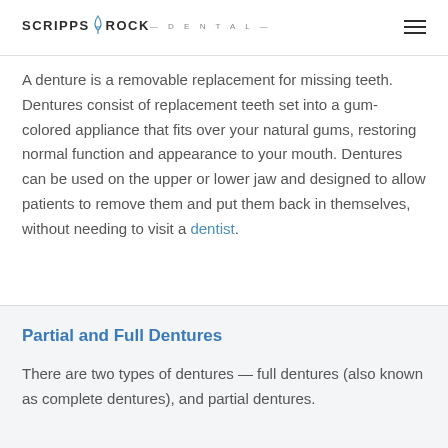SCRIPPS ROCK DENTAL
A denture is a removable replacement for missing teeth. Dentures consist of replacement teeth set into a gum-colored appliance that fits over your natural gums, restoring normal function and appearance to your mouth. Dentures can be used on the upper or lower jaw and designed to allow patients to remove them and put them back in themselves, without needing to visit a dentist.
Partial and Full Dentures
There are two types of dentures — full dentures (also known as complete dentures), and partial dentures.